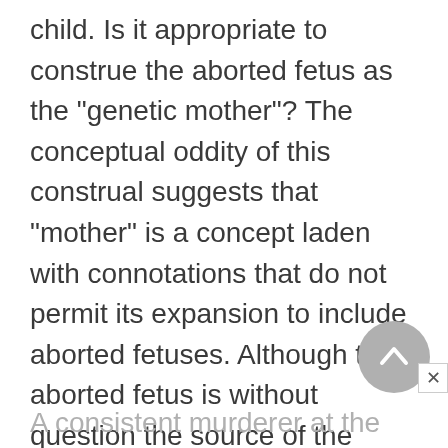child. Is it appropriate to construe the aborted fetus as the "genetic mother"? The conceptual oddity of this construal suggests that "mother" is a concept laden with connotations that do not permit its expansion to include aborted fetuses. Although the aborted fetus is without question the source of the genetic material from which the new life was created, it is semantically odd to conclude that the aborted fetus is the genetic mother.
A consistent murderer at the...